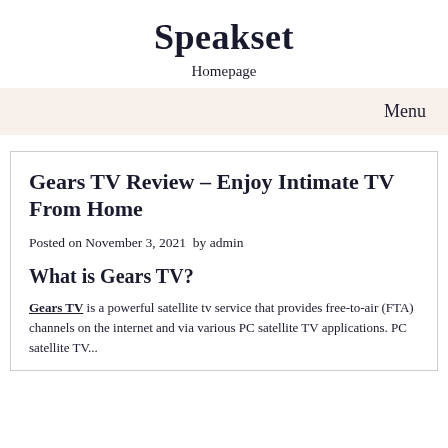Speakset
Homepage
Menu
Gears TV Review – Enjoy Intimate TV From Home
Posted on November 3, 2021  by admin
What is Gears TV?
Gears TV is a powerful satellite tv service that provides free-to-air (FTA) channels on the internet and via various PC satellite TV applications. PC satellite TV...